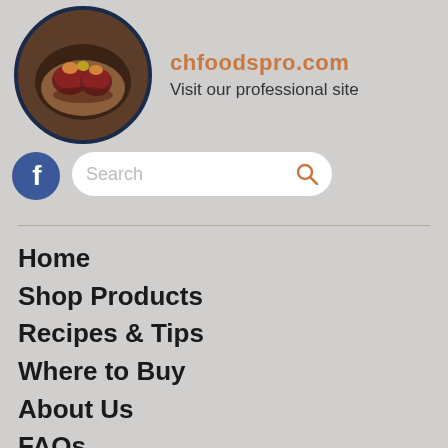[Figure (photo): Circular photo of plated meat dish (beef tournedos/filet with garnishes on a dark plate), with dark navy border]
chfoodspro.com
Visit our professional site
[Figure (logo): Facebook circular logo icon (blue circle with white f)]
Search
Home
Shop Products
Recipes & Tips
Where to Buy
About Us
FAQs
Get In Touch